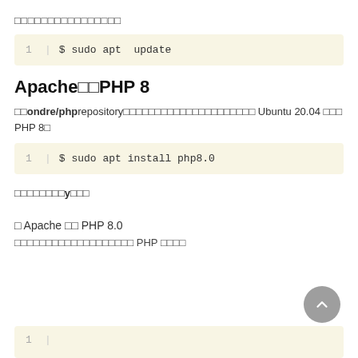□□□□□□□□□□□□□□□□
1  $ sudo apt  update
Apache□□PHP 8
□□ondre/phprepository□□□□□□□□□□□□□□□□□□□□□ Ubuntu 20.04 □□□ PHP 8□
1  $ sudo apt install php8.0
□□□□□□□□y□□□
□ Apache □□ PHP 8.0
□□□□□□□□□□□□□□□□□□□ PHP □□□□